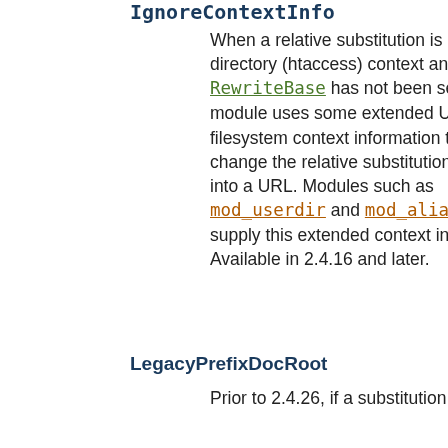IgnoreContextInfo
When a relative substitution is made in directory (htaccess) context and RewriteBase has not been set, this module uses some extended URL and filesystem context information to change the relative substitution back into a URL. Modules such as mod_userdir and mod_alias supply this extended context info. Available in 2.4.16 and later.
LegacyPrefixDocRoot
Prior to 2.4.26, if a substitution was an